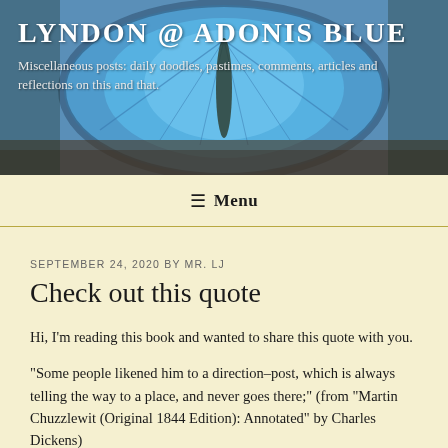[Figure (photo): Blue butterfly (Adonis Blue) spread wings on a natural background, used as blog header image]
LYNDON @ ADONIS BLUE
Miscellaneous posts: daily doodles, pastimes, comments, articles and reflections on this and that.
≡ Menu
SEPTEMBER 24, 2020 BY MR. LJ
Check out this quote
Hi, I'm reading this book and wanted to share this quote with you.
“Some people likened him to a direction–post, which is always telling the way to a place, and never goes there;” (from “Martin Chuzzlewit (Original 1844 Edition): Annotated” by Charles Dickens)